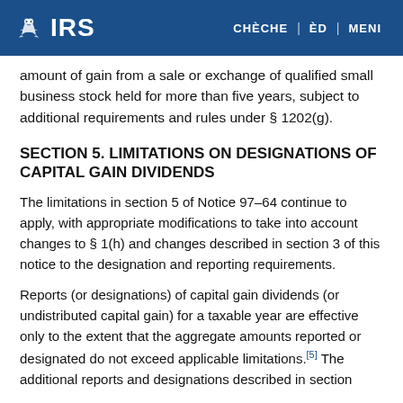IRS | CHÈCHE | ÈD | MENI
amount of gain from a sale or exchange of qualified small business stock held for more than five years, subject to additional requirements and rules under § 1202(g).
SECTION 5. LIMITATIONS ON DESIGNATIONS OF CAPITAL GAIN DIVIDENDS
The limitations in section 5 of Notice 97–64 continue to apply, with appropriate modifications to take into account changes to § 1(h) and changes described in section 3 of this notice to the designation and reporting requirements.
Reports (or designations) of capital gain dividends (or undistributed capital gain) for a taxable year are effective only to the extent that the aggregate amounts reported or designated do not exceed applicable limitations.[5] The additional reports and designations described in section